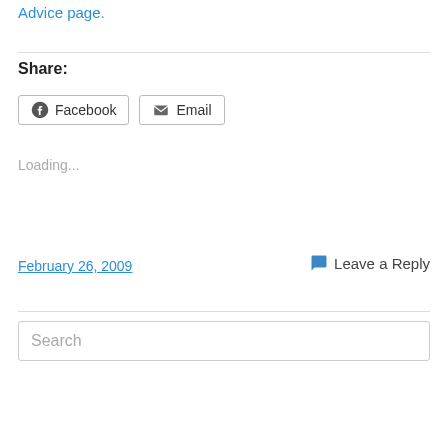Advice page.
Share:
Facebook | Email (share buttons)
Loading...
February 26, 2009
Leave a Reply
Search